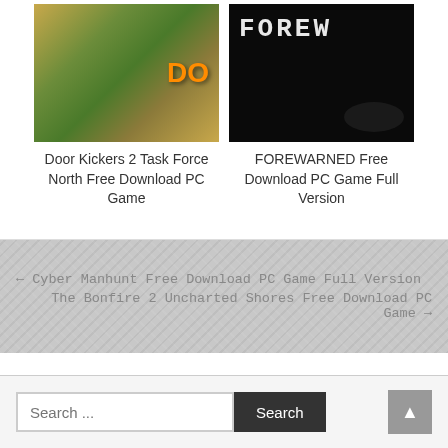[Figure (screenshot): Door Kickers 2 Task Force North game screenshot showing soldiers in combat]
Door Kickers 2 Task Force North Free Download PC Game
[Figure (screenshot): FOREWARNED game screenshot showing dark title screen]
FOREWARNED Free Download PC Game Full Version
← Cyber Manhunt Free Download PC Game Full Version
The Bonfire 2 Uncharted Shores Free Download PC Game →